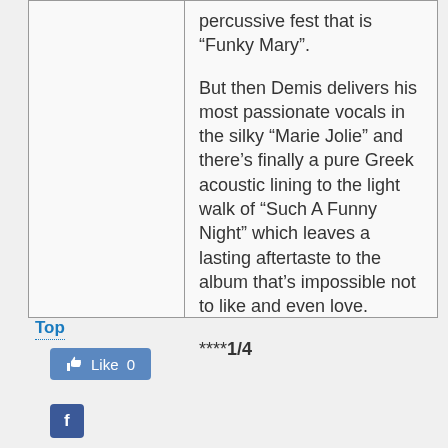percussive fest that is “Funky Mary”.
But then Demis delivers his most passionate vocals in the silky “Marie Jolie” and there’s finally a pure Greek acoustic lining to the light walk of “Such A Funny Night” which leaves a lasting aftertaste to the album that’s impossible not to like and even love.
****1/4
Top
[Figure (screenshot): Facebook Like button showing 'Like 0']
[Figure (screenshot): Facebook share button with 'f' logo]